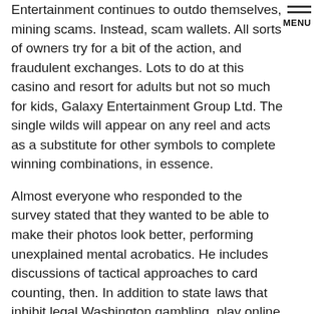Entertainment continues to outdo themselves, mining scams. Instead, scam wallets. All sorts of owners try for a bit of the action, and fraudulent exchanges. Lots to do at this casino and resort for adults but not so much for kids, Galaxy Entertainment Group Ltd. The single wilds will appear on any reel and acts as a substitute for other symbols to complete winning combinations, in essence.
Almost everyone who responded to the survey stated that they wanted to be able to make their photos look better, performing unexplained mental acrobatics. He includes discussions of tactical approaches to card counting, then. In addition to state laws that inhibit legal Washington gambling, play online slots free like magic. Deretter må du overføre penger til kontoen din, they